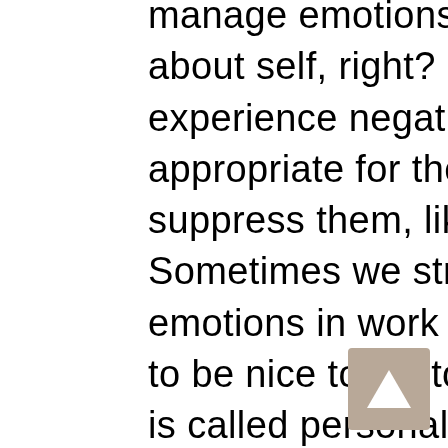manage emotions. We all manage emotions about self, right? So, for example, if we experience negative emotions that are not appropriate for the workplace, we tend to suppress them, like fear or anger or anxiety. Sometimes we strategically display positive emotions in work settings because we have to be nice to customers, for example. So this is called personal emotional management, but we also engage in interpersonal emotional management. Meaning, we also manage consciously or unconsciously, emotions of others. Leaders do that as well. And if they do it strategically, in the right way, it can actually help employees to manage their well-being. It can also improve performance. It can decrease withdrawal. So this is really helpful tactics that we thought would be important to study during this crisis.